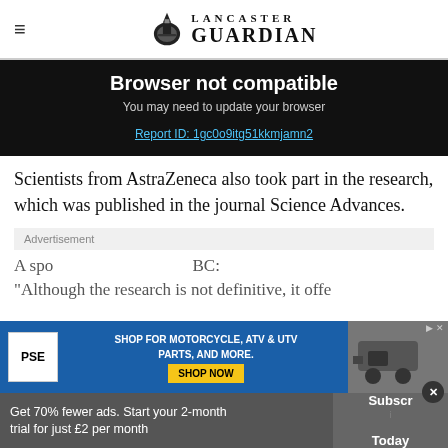Lancaster Guardian
Browser not compatible
You may need to update your browser
Report ID: 1gc0o9itg51kkmjamn2
Scientists from AstraZeneca also took part in the research, which was published in the journal Science Advances.
Advertisement
[Figure (other): PSE advertisement banner: SHOP FOR MOTORCYCLE, ATV & UTV PARTS, AND MORE. SHOP NOW]
A spo... BBC: "Although the research is not definitive, it offe...
Get 70% fewer ads. Start your 2-month trial for just £2 per month